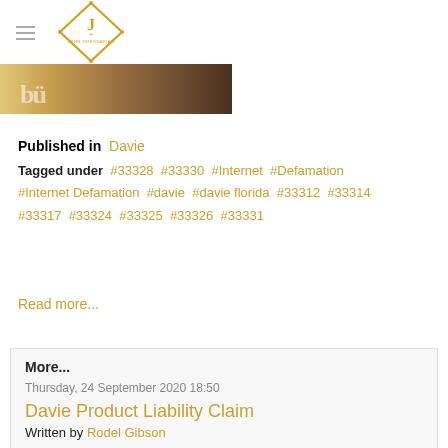John Odessakian logo and navigation
[Figure (illustration): Partial image strip showing text/photo at top of article]
Published in Davie
Tagged under #33328 #33330 #Internet #Defamation #Internet Defamation #davie #davie florida #33312 #33314 #33317 #33324 #33325 #33326 #33331
Read more...
More...
Thursday, 24 September 2020 18:50
Davie Product Liability Claim
Written by Rodel Gibson